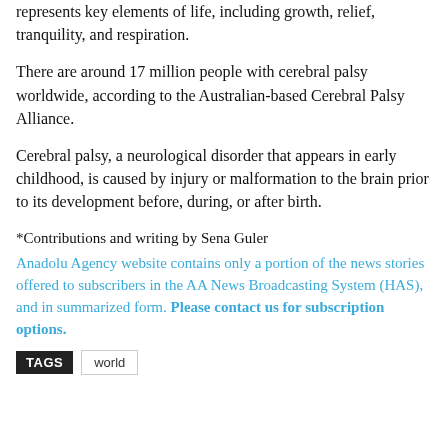represents key elements of life, including growth, relief, tranquility, and respiration.
There are around 17 million people with cerebral palsy worldwide, according to the Australian-based Cerebral Palsy Alliance.
Cerebral palsy, a neurological disorder that appears in early childhood, is caused by injury or malformation to the brain prior to its development before, during, or after birth.
*Contributions and writing by Sena Guler
Anadolu Agency website contains only a portion of the news stories offered to subscribers in the AA News Broadcasting System (HAS), and in summarized form. Please contact us for subscription options.
TAGS  world